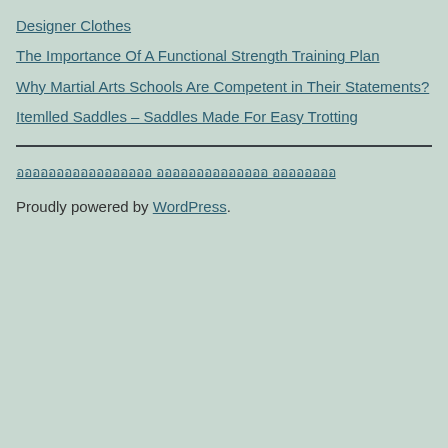Designer Clothes
The Importance Of A Functional Strength Training Plan
Why Martial Arts Schools Are Competent in Their Statements?
Itemlled Saddles – Saddles Made For Easy Trotting
อออออออออออออออออ ออออออออออออออ ออออออออ
Proudly powered by WordPress.